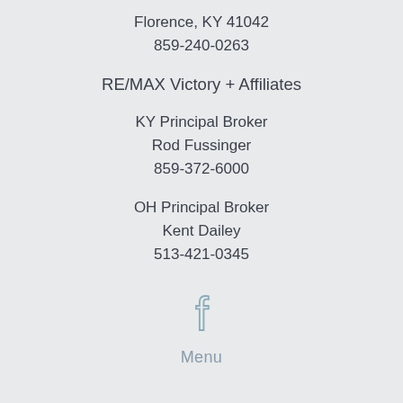Florence, KY 41042
859-240-0263
RE/MAX Victory + Affiliates
KY Principal Broker
Rod Fussinger
859-372-6000
OH Principal Broker
Kent Dailey
513-421-0345
[Figure (illustration): Facebook icon (letter f in outline style)]
Menu